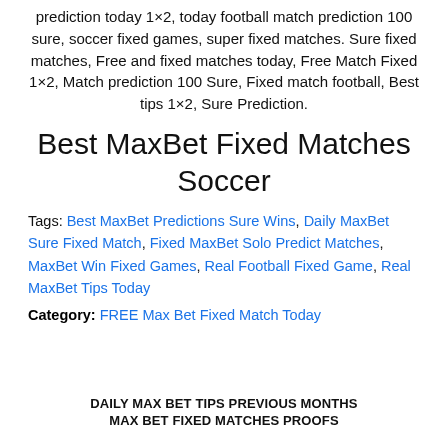prediction today 1×2, today football match prediction 100 sure, soccer fixed games, super fixed matches. Sure fixed matches, Free and fixed matches today, Free Match Fixed 1×2, Match prediction 100 Sure, Fixed match football, Best tips 1×2, Sure Prediction.
Best MaxBet Fixed Matches Soccer
Tags: Best MaxBet Predictions Sure Wins, Daily MaxBet Sure Fixed Match, Fixed MaxBet Solo Predict Matches, MaxBet Win Fixed Games, Real Football Fixed Game, Real MaxBet Tips Today
Category: FREE Max Bet Fixed Match Today
DAILY MAX BET TIPS PREVIOUS MONTHS
MAX BET FIXED MATCHES PROOFS